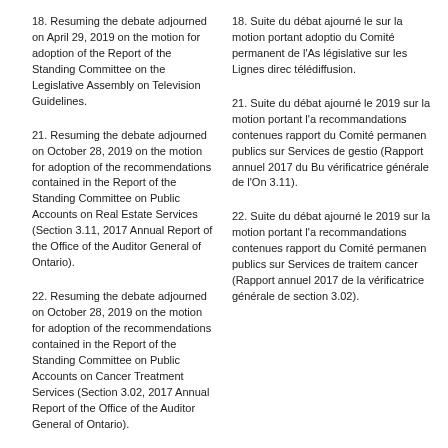18. Resuming the debate adjourned on April 29, 2019 on the motion for adoption of the Report of the Standing Committee on the Legislative Assembly on Television Guidelines.
18. Suite du débat ajourné le sur la motion portant adoption du Comité permanent de l'As législative sur les Lignes direc télédiffusion.
21. Resuming the debate adjourned on October 28, 2019 on the motion for adoption of the recommendations contained in the Report of the Standing Committee on Public Accounts on Real Estate Services (Section 3.11, 2017 Annual Report of the Office of the Auditor General of Ontario).
21. Suite du débat ajourné le 2019 sur la motion portant l'a recommandations contenues rapport du Comité permanen publics sur Services de gestio (Rapport annuel 2017 du Bu vérificatrice générale de l'On 3.11).
22. Resuming the debate adjourned on October 28, 2019 on the motion for adoption of the recommendations contained in the Report of the Standing Committee on Public Accounts on Cancer Treatment Services (Section 3.02, 2017 Annual Report of the Office of the Auditor General of Ontario).
22. Suite du débat ajourné le 2019 sur la motion portant l'a recommandations contenues rapport du Comité permanen publics sur Services de traite cancer (Rapport annuel 2017 de la vérificatrice générale de section 3.02).